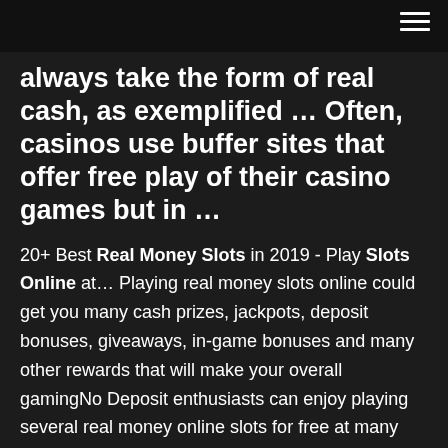[Figure (other): Top navigation bar with hamburger menu icon (three horizontal lines) on dark background]
always take the form of real cash, as exemplified … Often, casinos use buffer sites that offer free play of their casino games but in …
20+ Best Real Money Slots in 2019 - Play Slots Online at… Playing real money slots online could get you many cash prizes, jackpots, deposit bonuses, giveaways, in-game bonuses and many other rewards that will make your overall gamingNo Deposit enthusiasts can enjoy playing several real money online slots for free at many online casinos. Can I play free online slots with no deposit to win real… There are no free online slots that pay real money with real prizes and no deposit require. But you can play them in online casinos to achieve this goal. You can win real